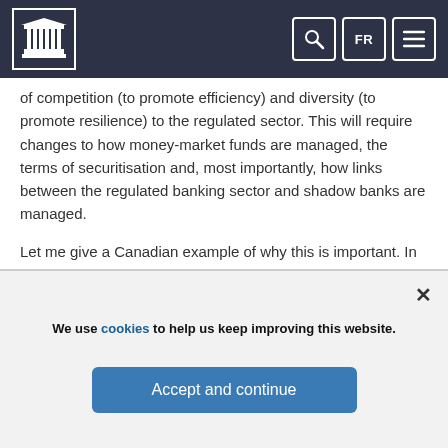Bank of Canada website header with logo, search, FR language toggle, and menu icons
of competition (to promote efficiency) and diversity (to promote resilience) to the regulated sector. This will require changes to how money-market funds are managed, the terms of securitisation and, most importantly, how links between the regulated banking sector and shadow banks are managed.
Let me give a Canadian example of why this is important. In the summer of 2007, the Canadian non-bank ABCP market froze (Chart 1 [PDF]). As a consequence, auto leasing disappeared almost overnight (Chart 2 [PDF]).
We use cookies to help us keep improving this website.